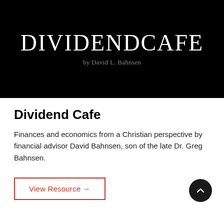[Figure (logo): Dividend Cafe logo — large white serif text 'DIVIDENDCAFE' on black background with subtitle 'by David L. Bahnsen' in grey]
Dividend Cafe
Finances and economics from a Christian perspective by financial advisor David Bahnsen, son of the late Dr. Greg Bahnsen.
View Resource →